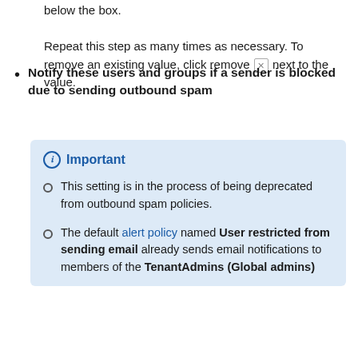below the box. Repeat this step as many times as necessary. To remove an existing value, click remove ✕ next to the value.
Notify these users and groups if a sender is blocked due to sending outbound spam
Important
This setting is in the process of being deprecated from outbound spam policies.
The default alert policy named User restricted from sending email already sends email notifications to members of the TenantAdmins (Global admins)